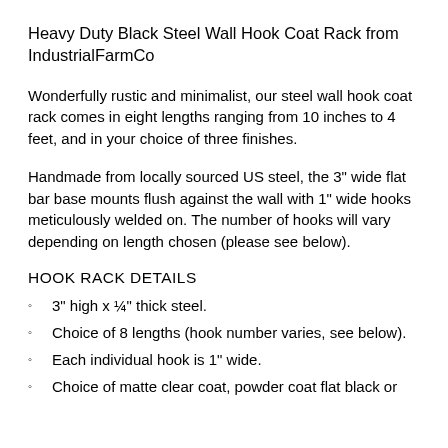Heavy Duty Black Steel Wall Hook Coat Rack from IndustrialFarmCo
Wonderfully rustic and minimalist, our steel wall hook coat rack comes in eight lengths ranging from 10 inches to 4 feet, and in your choice of three finishes.
Handmade from locally sourced US steel, the 3" wide flat bar base mounts flush against the wall with 1" wide hooks meticulously welded on. The number of hooks will vary depending on length chosen (please see below).
HOOK RACK DETAILS
3" high x ¼" thick steel.
Choice of 8 lengths (hook number varies, see below).
Each individual hook is 1" wide.
Choice of matte clear coat, powder coat flat black or